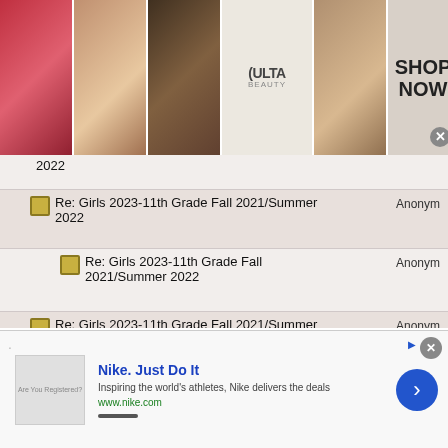[Figure (photo): Ulta Beauty advertisement banner with makeup photos, Ulta logo, and SHOP NOW button]
2022
Re: Girls 2023-11th Grade Fall 2021/Summer 2022  Anonym
Re: Girls 2023-11th Grade Fall 2021/Summer 2022  Anonym
Re: Girls 2023-11th Grade Fall 2021/Summer 2022  Anonym
Re: Girls 2023-11th Grade Fall 2021/Summer 2022  Anonym
Re: Girls 2023-11th Grade Fall 2021/Summer 2022  Anonym
Re: Girls 2023-11th Grade Fall 2021/Summer 2022  Anonym
[Figure (screenshot): Nike. Just Do It advertisement banner with logo, slogan, URL, and arrow button]